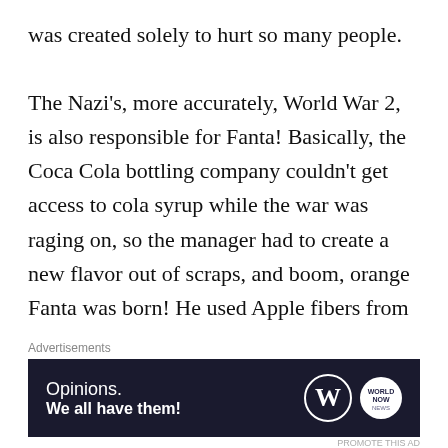was created solely to hurt so many people.

The Nazi's, more accurately, World War 2, is also responsible for Fanta! Basically, the Coca Cola bottling company couldn't get access to cola syrup while the war was raging on, so the manager had to create a new flavor out of scraps, and boom, orange Fanta was born! He used Apple fibers from old candy and whey from cheese makers. So if you love chemo therapy and orange Fanta, you have the Nazi's to thank
[Figure (other): Advertisement banner for WordPress with text 'Opinions. We all have them!' and WordPress and World Now logos on dark navy background]